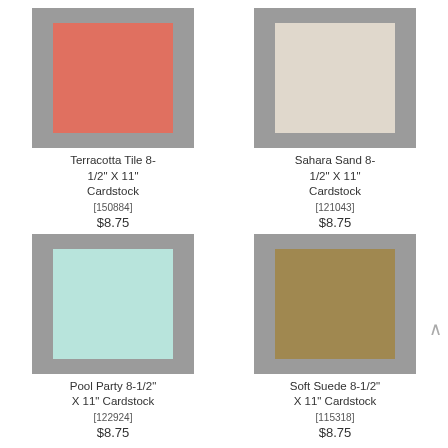[Figure (photo): Terracotta Tile colored cardstock sheet on gray background]
Terracotta Tile 8-1/2" X 11" Cardstock
[150884]
$8.75
[Figure (photo): Sahara Sand colored cardstock sheet on gray background]
Sahara Sand 8-1/2" X 11" Cardstock
[121043]
$8.75
[Figure (photo): Pool Party colored cardstock sheet on gray background]
Pool Party 8-1/2" X 11" Cardstock
[122924]
$8.75
[Figure (photo): Soft Suede colored cardstock sheet on gray background]
Soft Suede 8-1/2" X 11" Cardstock
[115318]
$8.75